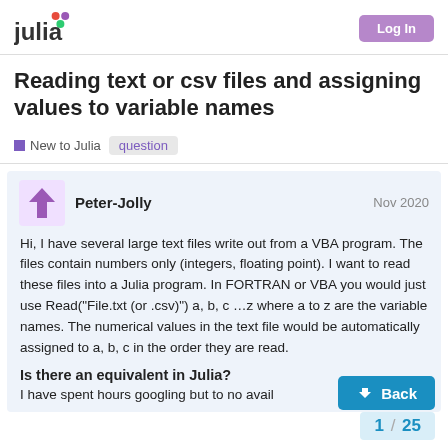julia [Log In]
Reading text or csv files and assigning values to variable names
New to Julia  question
Peter-Jolly  Nov 2020
Hi, I have several large text files write out from a VBA program. The files contain numbers only (integers, floating point). I want to read these files into a Julia program. In FORTRAN or VBA you would just use Read("File.txt (or .csv)") a, b, c …z where a to z are the variable names. The numerical values in the text file would be automatically assigned to a, b, c in the order they are read.
Is there an equivalent in Julia?
I have spent hours googling but to no avail
1 / 25